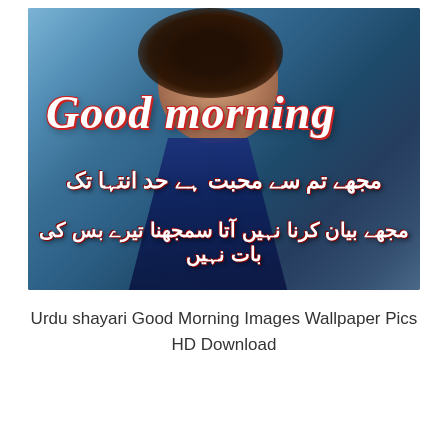[Figure (photo): A photo of a woman with text overlay. The image shows 'Good morning' in large italic white/pink text with red outline, and two lines of Urdu poetry text in white with red outline over a blue-toned background with a woman in a blue outfit.]
Urdu shayari Good Morning Images Wallpaper Pics HD Download